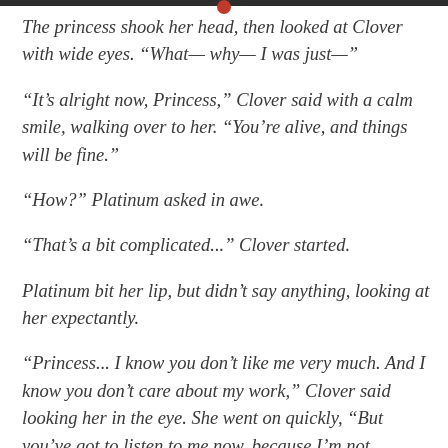The princess shook her head, then looked at Clover with wide eyes. “What— why— I was just—”
“It’s alright now, Princess,” Clover said with a calm smile, walking over to her. “You’re alive, and things will be fine.”
“How?” Platinum asked in awe.
“That’s a bit complicated...” Clover started.
Platinum bit her lip, but didn’t say anything, looking at her expectantly.
“Princess... I know you don’t like me very much. And I know you don’t care about my work,” Clover said looking her in the eye. She went on quickly, “But you’ve got to listen to me now, because I’m not speaking on behalf of myself, or